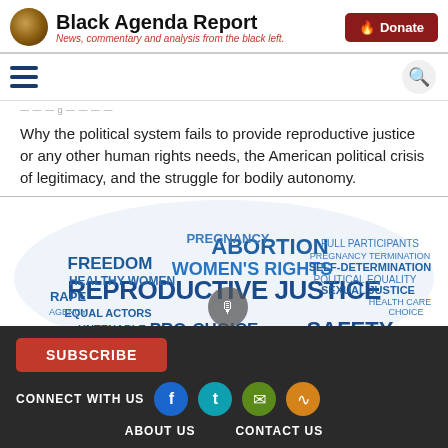Black Agenda Report — News, commentary and analysis from the black left.
Why the political system fails to provide reproductive justice or any other human rights needs, the American political crisis of legitimacy, and the struggle for bodily autonomy.
[Figure (illustration): Word cloud featuring reproductive justice related terms: ABORTION, WOMEN'S RIGHTS, REPRODUCTIVE JUSTICE, FREEDOM, PREGNANCY, PRO-CHOICE, SAFETY, UNTENABLE, EQUAL ACTORS, RAPE, HEALTHY WOMEN, SELF-DETERMINATION, SEXUAL JUSTICE, FULL PARTICIPANTS, PREGNANCY TERMINATION, POLITICAL EQUALITY, HEALTH CARE, CHOICE, CONTRACEPTION, INCEST, and others, with a microphone icon in the center.]
SUBSCRIBE | CONNECT WITH US | ABOUT US | CONTACT US